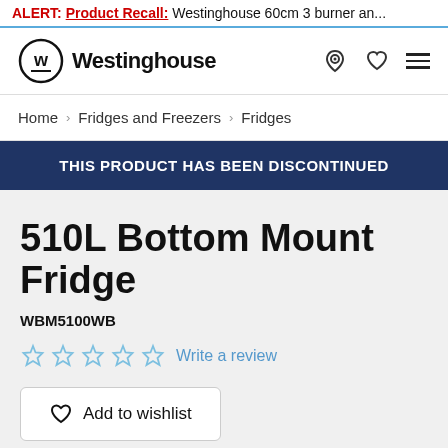ALERT: Product Recall: Westinghouse 60cm 3 burner an...
[Figure (logo): Westinghouse logo with W in a circle and Westinghouse text]
Home › Fridges and Freezers › Fridges
THIS PRODUCT HAS BEEN DISCONTINUED
510L Bottom Mount Fridge
WBM5100WB
☆☆☆☆☆  Write a review
Add to wishlist